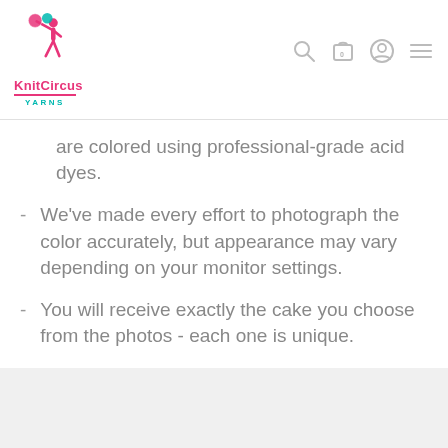[Figure (logo): KnitCircus Yarns logo with a figure holding yarn balls, text 'KnitCircus' in pink and 'YARNS' in teal]
are colored using professional-grade acid dyes.
We've made every effort to photograph the color accurately, but appearance may vary depending on your monitor settings.
You will receive exactly the cake you choose from the photos - each one is unique.